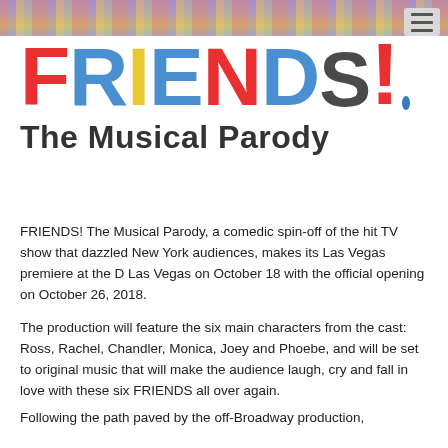[Figure (photo): Colorful stage/show banner image at top]
FRIENDS! The Musical Parody
FRIENDS! The Musical Parody, a comedic spin-off of the hit TV show that dazzled New York audiences, makes its Las Vegas premiere at the D Las Vegas on October 18 with the official opening on October 26, 2018.
The production will feature the six main characters from the cast: Ross, Rachel, Chandler, Monica, Joey and Phoebe, and will be set to original music that will make the audience laugh, cry and fall in love with these six FRIENDS all over again.
Following the path paved by the off-Broadway production, the production of FRIENDS! The Musical Parody will be set to...